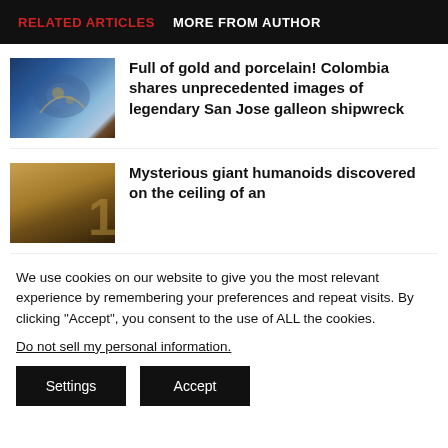RELATED ARTICLES   MORE FROM AUTHOR
[Figure (photo): Thumbnail image of the San Jose galleon shipwreck underwater, showing gold and porcelain artifacts]
Full of gold and porcelain! Colombia shares unprecedented images of legendary San Jose galleon shipwreck
[Figure (photo): Thumbnail image of mysterious giant humanoids on a ceiling, brownish tones]
Mysterious giant humanoids discovered on the ceiling of an
We use cookies on our website to give you the most relevant experience by remembering your preferences and repeat visits. By clicking “Accept”, you consent to the use of ALL the cookies.
Do not sell my personal information.
Settings   Accept